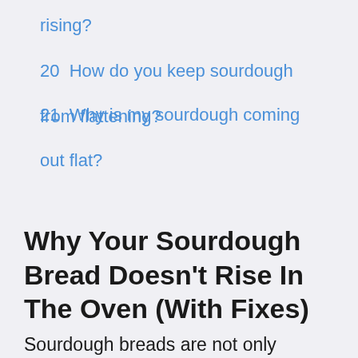rising?
20  How do you keep sourdough from flattening?
21  Why is my sourdough coming out flat?
Why Your Sourdough Bread Doesn't Rise In The Oven (With Fixes)
Sourdough breads are not only